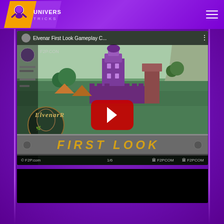[Figure (logo): Universe Tricks website logo - trapezoid shape with orange and purple, muscle man icon, text UNIVERSE TRICKS]
[Figure (screenshot): YouTube video thumbnail for 'Elvenar First Look Gameplay C...' showing the Elvenar fantasy city-building game with purple castle buildings, green landscape, Elvenar logo, FIRST LOOK banner text in gold, and YouTube play button overlay]
[Figure (screenshot): Black content area below the video player]